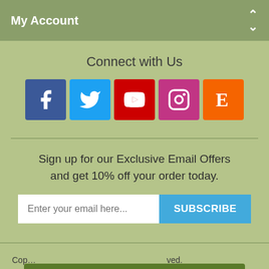My Account
Connect with Us
[Figure (infographic): Five social media icons in colored squares: Facebook (blue), Twitter (light blue), YouTube (red), Instagram (purple-pink), Etsy (orange)]
Sign up for our Exclusive Email Offers and get 10% off your order today.
Enter your email here... SUBSCRIBE
Copy... All rights reserved.
Leave a message